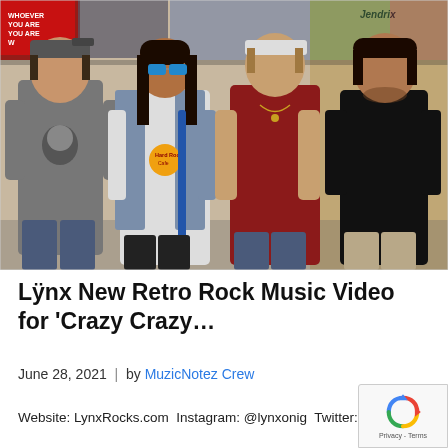[Figure (photo): Four male band members standing together in front of a wall covered with rock music posters. From left: man in gray T-shirt with backward cap, man in Hard Rock Cafe white shirt with blue mirror sunglasses and long dark hair holding a guitar neck, man in dark red sleeveless shirt with bandana headband, man in black T-shirt.]
Lÿnx New Retro Rock Music Video for 'Crazy Crazy…
June 28, 2021  |  by MuzicNotez Crew
Website: LynxRocks.com Instagram: @lynxonig Twitter: